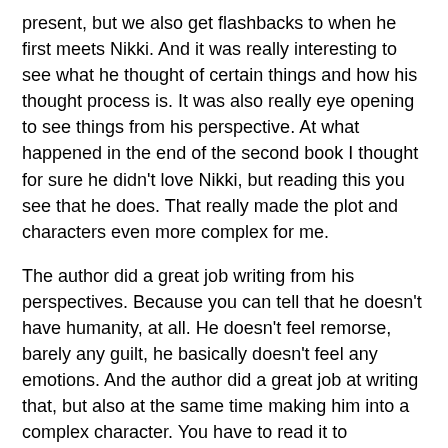present, but we also get flashbacks to when he first meets Nikki. And it was really interesting to see what he thought of certain things and how his thought process is. It was also really eye opening to see things from his perspective. At what happened in the end of the second book I thought for sure he didn't love Nikki, but reading this you see that he does. That really made the plot and characters even more complex for me.
The author did a great job writing from his perspectives. Because you can tell that he doesn't have humanity, at all. He doesn't feel remorse, barely any guilt, he basically doesn't feel any emotions. And the author did a great job at writing that, but also at the same time making him into a complex character. You have to read it to understand how that works, but Cole got so much depth in this book, it was amazing!!!
We also get to see and learn more about the Everneath and some of it's history, which was pretty awesome to read about. And the plot was really captivating, I actually wish this book was longer so the plot could have went on.